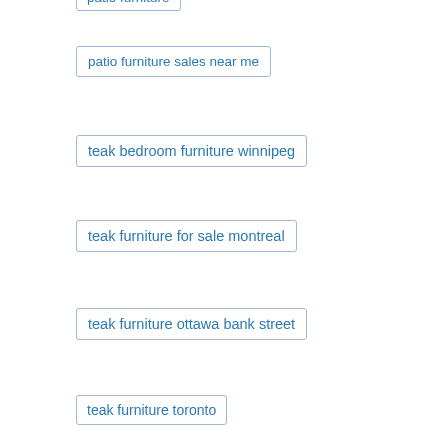patio furniture
patio furniture sales near me
teak bedroom furniture winnipeg
teak furniture for sale montreal
teak furniture ottawa bank street
teak furniture toronto
teak garden furniture
teak garden furniture care
teak outdoor furniture
teak outdoor furniture care
teak outdoor furniture montreal